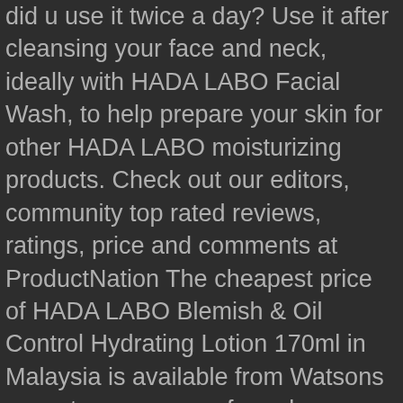did u use it twice a day? Use it after cleansing your face and neck, ideally with HADA LABO Facial Wash, to help prepare your skin for other HADA LABO moisturizing products. Check out our editors, community top rated reviews, ratings, price and comments at ProductNation The cheapest price of HADA LABO Blemish & Oil Control Hydrating Lotion 170ml in Malaysia is available from Watsons on watsons.com.my for only RM46.20, which is 69% less than the price on Chocolate Box (RM150.79). This helps to polish away dullness to reveal clear, bright skin. It provides a 2-in-1 function that helps to fight blemishes, soothe redness and hydrate the skin. Polishes away dullness & refine skin texture for visibly clear, smooth & radiant skin. I lived in Kuala Lumpur, Malaysia. Tapi sebab dah habis, i decided to try this Hada Labo cleanser pulak. If you are using chemical exfoliant on daily basis, please avoid physical exfoliants (St. Ives, Clarisonic, etc) in your skincare routine as to avoid over exfoliation. Yang penting, pencuci muka ini bebas pewangi, pewarna, minyak mineral dan alkohol. hahaha! Start your review of Mentholatum: Hada Labo AHA+BHA Fac...